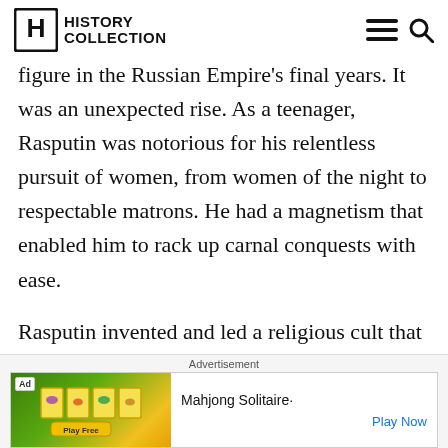History Collection
figure in the Russian Empire's final years. It was an unexpected rise. As a teenager, Rasputin was notorious for his relentless pursuit of women, from women of the night to respectable matrons. He had a magnetism that enabled him to rack up carnal conquests with ease.

Rasputin invented and led a religious cult that combined Orthodox Christianity with physical
Advertisement
[Figure (other): Advertisement banner for Mahjong Solitaire game with green and yellow mahjong tiles imagery and a Play Now button]